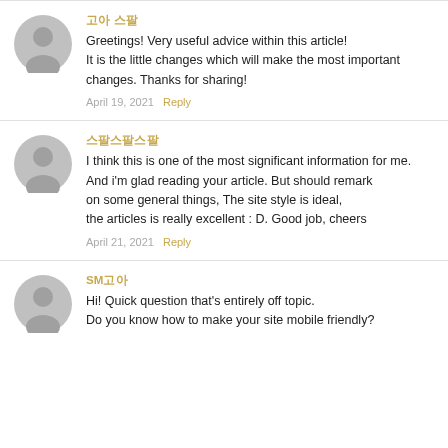댓글 작성자 1: Greetings! Very useful advice within this article! It is the little changes which will make the most important changes. Thanks for sharing! April 19, 2021 Reply
댓글 작성자 2: I think this is one of the most significant information for me. And i'm glad reading your article. But should remark on some general things, The site style is ideal, the articles is really excellent : D. Good job, cheers April 21, 2021 Reply
SM댓글: Hi! Quick question that's entirely off topic. Do you know how to make your site mobile friendly?